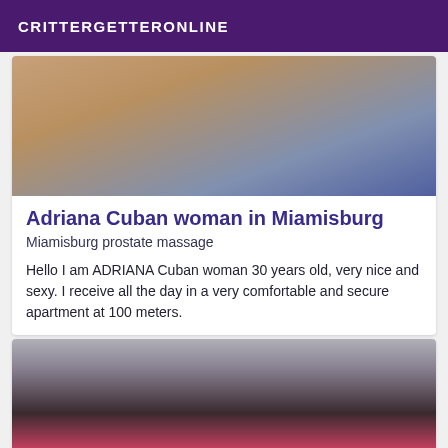CRITTERGETTERONLINE
[Figure (photo): Photo of a person's back/shoulder area, partial view, dark clothing]
Adriana Cuban woman in Miamisburg
Miamisburg prostate massage
Hello I am ADRIANA Cuban woman 30 years old, very nice and sexy. I receive all the day in a very comfortable and secure apartment at 100 meters.
[Figure (photo): Photo of a person with dark curly hair, wearing a pink/red top, partial view]